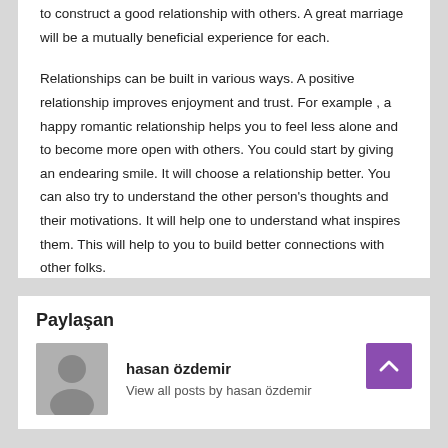to construct a good relationship with others. A great marriage will be a mutually beneficial experience for each.
Relationships can be built in various ways. A positive relationship improves enjoyment and trust. For example , a happy romantic relationship helps you to feel less alone and to become more open with others. You could start by giving an endearing smile. It will choose a relationship better. You can also try to understand the other person’s thoughts and their motivations. It will help one to understand what inspires them. This will help to you to build better connections with other folks.
Paylaşan
hasan özdemir
View all posts by hasan özdemir